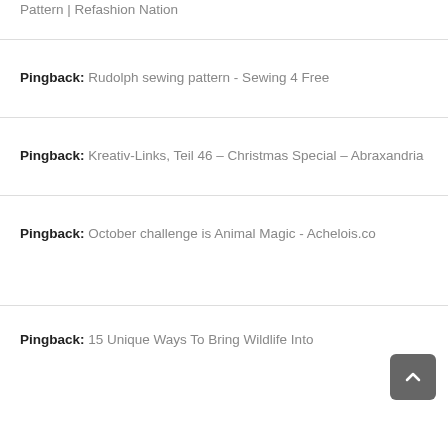Pattern | Refashion Nation
Pingback: Rudolph sewing pattern - Sewing 4 Free
Pingback: Kreativ-Links, Teil 46 – Christmas Special – Abraxandria
Pingback: October challenge is Animal Magic - Achelois.co
Pingback: 15 Unique Ways To Bring Wildlife Into